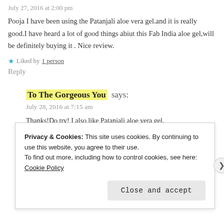July 27, 2016 at 2:00 pm
Pooja I have been using the Patanjali aloe vera gel.and it is really good.I have heard a lot of good things abiut this Fab India aloe gel,will be definitely buying it . Nice review.
★ Liked by 1 person
Reply
To The Gorgeous You says:
July 28, 2016 at 7:15 am
Thanks!Do try! I also like Patanjali aloe vera gel.
★ Like
Privacy & Cookies: This site uses cookies. By continuing to use this website, you agree to their use. To find out more, including how to control cookies, see here: Cookie Policy
Close and accept